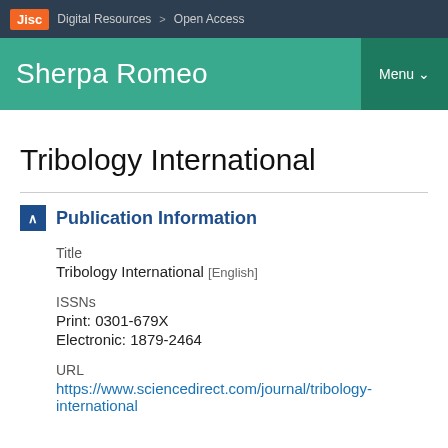Jisc  Digital Resources  >  Open Access
Sherpa Romeo
Tribology International
Publication Information
Title
Tribology International  [English]
ISSNs
Print: 0301-679X
Electronic: 1879-2464
URL
https://www.sciencedirect.com/journal/tribology-international